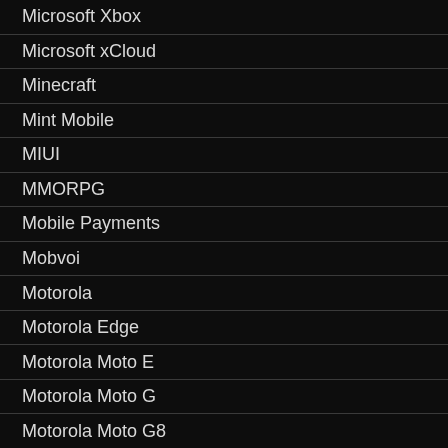Microsoft Xbox
Microsoft xCloud
Minecraft
Mint Mobile
MIUI
MMORPG
Mobile Payments
Mobvoi
Motorola
Motorola Edge
Motorola Moto E
Motorola Moto G
Motorola Moto G8